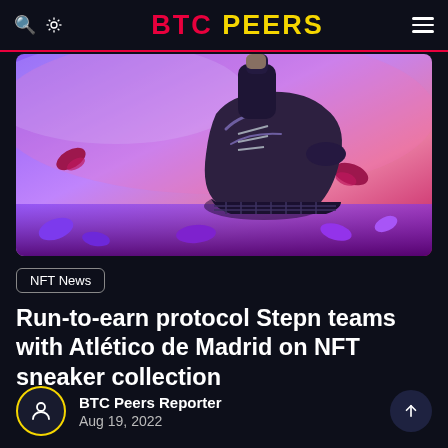BTC PEERS
[Figure (photo): Running shoes close-up with autumn leaves on a purple/pink gradient background, person running outdoors]
NFT News
Run-to-earn protocol Stepn teams with Atlético de Madrid on NFT sneaker collection
BTC Peers Reporter
Aug 19, 2022